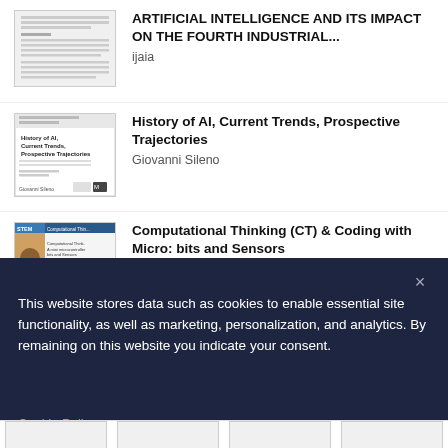[Figure (screenshot): Thumbnail image of a document page with dense text]
ARTIFICIAL INTELLIGENCE AND ITS IMPACT ON THE FOURTH INDUSTRIAL...
ijaia
[Figure (screenshot): Book cover: History of AI, Current Trends, Prospective Trajectories]
History of AI, Current Trends, Prospective Trajectories
Giovanni Sileno
[Figure (screenshot): Book cover: Computational Thinking (CT) & Coding with Micro: bits and Sensors, STEM Makerspace]
Computational Thinking (CT) & Coding with Micro: bits and Sensors
Kay yong Khoo
This website stores data such as cookies to enable essential site functionality, as well as marketing, personalization, and analytics. By remaining on this website you indicate your consent.
Cookie Policy